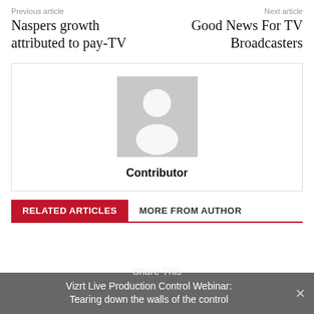Previous article
Naspers growth attributed to pay-TV
Next article
Good News For TV Broadcasters
[Figure (illustration): Default contributor avatar placeholder — grey square with white silhouette of a person]
Contributor
RELATED ARTICLES
MORE FROM AUTHOR
Vizrt Live Production Control Webinar: Tearing down the walls of the control
Share This